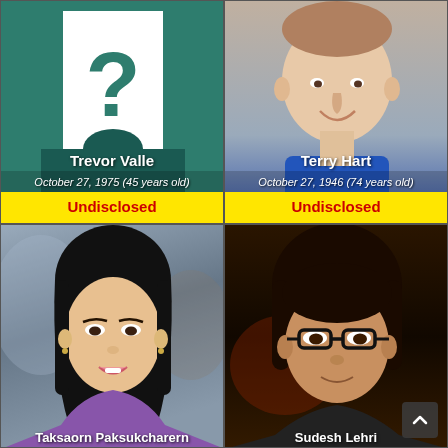[Figure (photo): Top-left card: Placeholder with question mark and teal background representing Trevor Valle]
Trevor Valle
October 27, 1975 (45 years old)
Undisclosed
[Figure (photo): Top-right card: Photo of Terry Hart, a smiling man in a blue shirt]
Terry Hart
October 27, 1946 (74 years old)
Undisclosed
[Figure (photo): Bottom-left card: Photo of Taksaorn Paksukcharern, a young Asian woman smiling]
Taksaorn Paksukcharern
[Figure (photo): Bottom-right card: Photo of Sudesh Lehri, a man with dark hair and glasses]
Sudesh Lehri